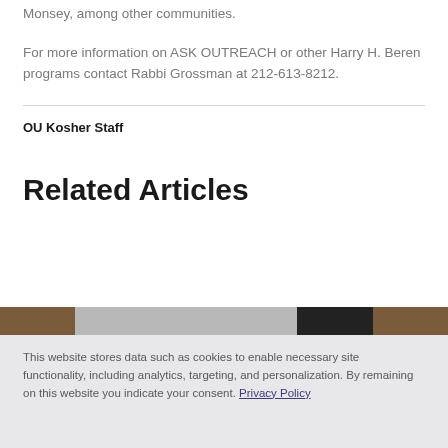Monsey, among other communities.
For more information on ASK OUTREACH or other Harry H. Beren programs contact Rabbi Grossman at 212-613-8212.
OU Kosher Staff
Related Articles
[Figure (photo): Partial strip of article thumbnail images showing three colored image segments]
This website stores data such as cookies to enable necessary site functionality, including analytics, targeting, and personalization. By remaining on this website you indicate your consent. Privacy Policy